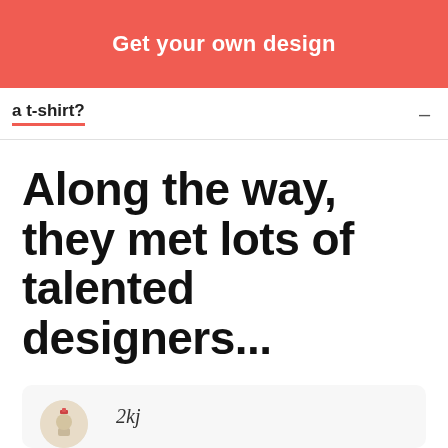[Figure (other): Red/coral button bar with white bold text 'Get your own design']
a t-shirt?
Along the way, they met lots of talented designers...
[Figure (other): Card with avatar image and italic text '2kj']